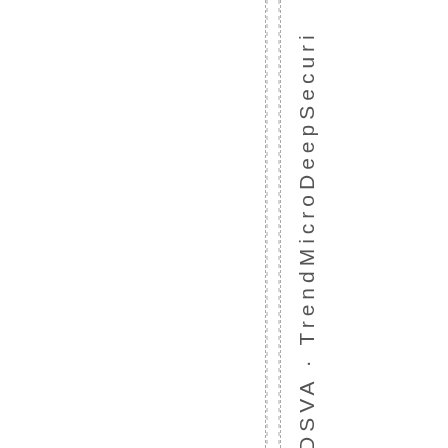DSVA · TrendMicroDeepSecuri
[Figure (other): Two vertical dashed lines running the full height of the page, positioned in the center-right area]